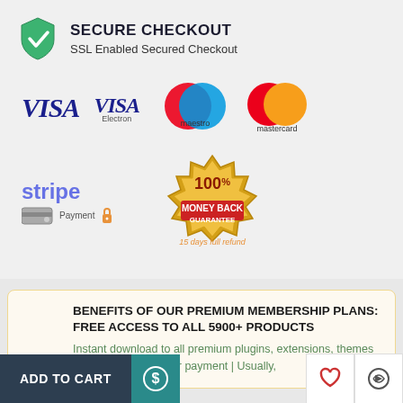[Figure (infographic): Secure checkout section with shield icon, payment method logos (Visa, Visa Electron, Maestro, Mastercard), Stripe payment logo, and 100% Money Back Guarantee badge with '15 days full refund' text]
[Figure (infographic): Benefits of Premium Membership section with trophy icon and text about free access to 5900+ products]
ADD TO CART